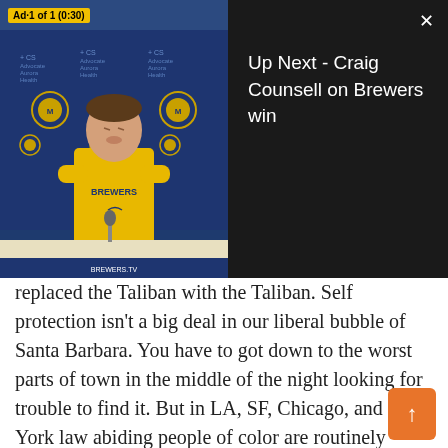[Figure (screenshot): Video player overlay showing an ad (Ad 1 of 1, 0:30) with a baseball press conference thumbnail on the left featuring a man in a yellow Brewers shirt. On the right side over black background text reads 'Up Next - Craig Counsell on Brewers win' with a close (X) button.]
replaced the Taliban with the Taliban. Self protection isn't a big deal in our liberal bubble of Santa Barbara. You have to got down to the worst parts of town in the middle of the night looking for trouble to find it. But in LA, SF, Chicago, and New York law abiding people of color are routinely deprived of their right to defend themselves. But not the criminals in their neighborhood. If you subtracted the major anti-gun cities from the stats the US would have some of the lowest crime and gun crime stats in the world. Down Mexico way the Mexicans let their government water down their version of the 2nd Amendment so guns are basically illegal. Who has guns in Mexico now? The